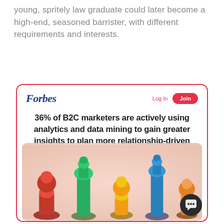young, spritely law graduate could later become a high-end, seasoned barrister, with different requirements and interests.
[Figure (screenshot): Forbes website screenshot showing a card with the Forbes logo, Log In and Join buttons, and a headline reading '36% of B2C marketers are actively using analytics and data mining to gain greater insights to plan more relationship-driven strategies', with an image of colorful chess pieces below.]